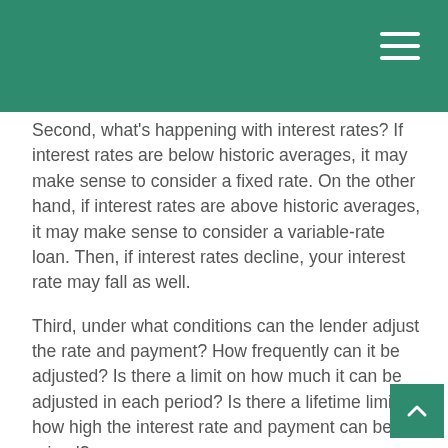Second, what’s happening with interest rates? If interest rates are below historic averages, it may make sense to consider a fixed rate. On the other hand, if interest rates are above historic averages, it may make sense to consider a variable-rate loan. Then, if interest rates decline, your interest rate may fall as well.
Third, under what conditions can the lender adjust the rate and payment? How frequently can it be adjusted? Is there a limit on how much it can be adjusted in each period? Is there a lifetime limit on how high the interest rate and payment can be raised?
And fourth, could you still afford your monthly payment if interest rates were to rise significantly? How would it affect your finances if your payment were to rise to its lifetime limit and stay there for an extended period?